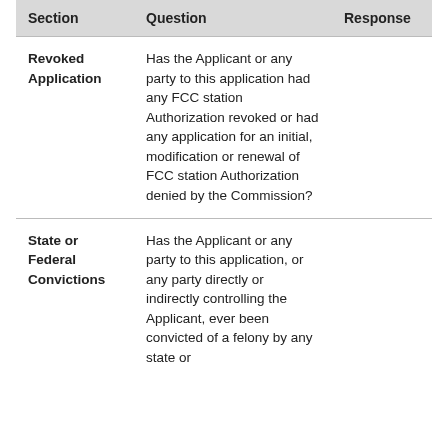| Section | Question | Response |
| --- | --- | --- |
| Revoked Application | Has the Applicant or any party to this application had any FCC station Authorization revoked or had any application for an initial, modification or renewal of FCC station Authorization denied by the Commission? |  |
| State or Federal Convictions | Has the Applicant or any party to this application, or any party directly or indirectly controlling the Applicant, ever been convicted of a felony by any state or |  |